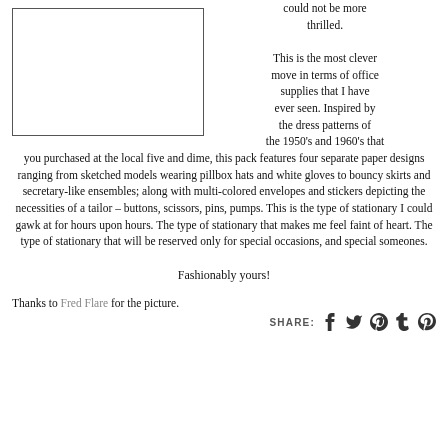[Figure (other): Empty white rectangle with border, representing a placeholder image]
could not be more thrilled.

This is the most clever move in terms of office supplies that I have ever seen. Inspired by the dress patterns of the 1950's and 1960's that you purchased at the local five and dime, this pack features four separate paper designs ranging from sketched models wearing pillbox hats and white gloves to bouncy skirts and secretary-like ensembles; along with multi-colored envelopes and stickers depicting the necessities of a tailor – buttons, scissors, pins, pumps. This is the type of stationary I could gawk at for hours upon hours. The type of stationary that makes me feel faint of heart. The type of stationary that will be reserved only for special occasions, and special someones.
Fashionably yours!
Thanks to Fred Flare for the picture.
SHARE: [social icons]